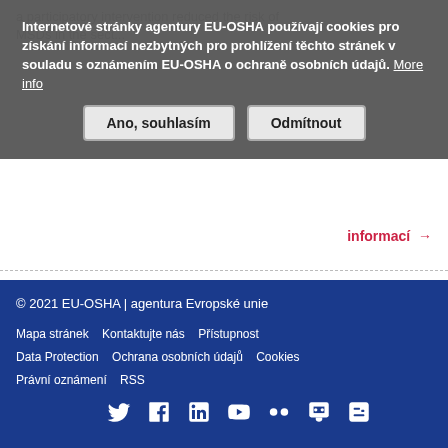Internetové stránky agentury EU-OSHA používají cookies pro získání informací nezbytných pro prohlížení těchto stránek v souladu s oznámením EU-OSHA o ochraně osobních údajů. More info
Ano, souhlasím   Odmítnout
1  2  3  ...  >  >>
© 2021 EU-OSHA | agentura Evropské unie
Mapa stránek   Kontaktujte nás   Přístupnost
Data Protection   Ochrana osobních údajů   Cookies
Právní oznámení   RSS